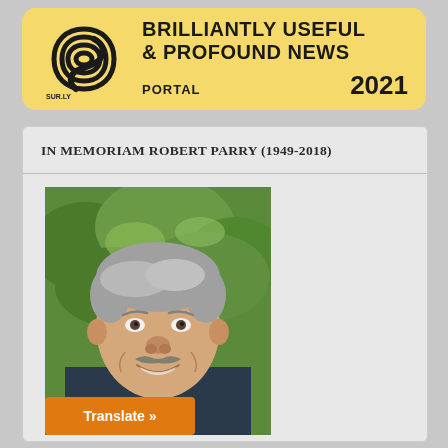[Figure (logo): Sur.ly logo with spiral/concentric-S graphic in black and yellow banner reading BRILLIANTLY USEFUL & PROFOUND NEWS PORTAL 2021]
IN MEMORIAM ROBERT PARRY (1949-2018)
[Figure (photo): Portrait photo of Robert Parry, a middle-aged man with grey hair and a mustache, smiling, wearing a suit and tie, with green trees in background]
Translate »